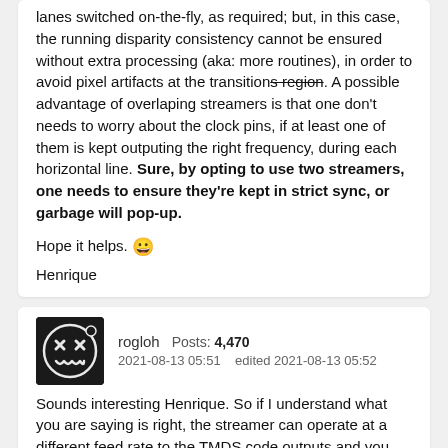lanes switched on-the-fly, as required; but, in this case, the running disparity consistency cannot be ensured without extra processing (aka: more routines), in order to avoid pixel artifacts at the transitions region. A possible advantage of overlaping streamers is that one don't needs to worry about the clock pins, if at least one of them is kept outputing the right frequency, during each horizontal line. Sure, by opting to use two streamers, one needs to ensure they're kept in strict sync, or garbage will pop-up.
Hope it helps. 😀
Henrique
[Figure (illustration): Avatar icon for user rogloh: black background with XX eyes and www mouth face]
rogloh   Posts: 4,470   2021-08-13 05:51   edited 2021-08-13 05:52
Sounds interesting Henrique. So if I understand what you are saying is right, the streamer can operate at a different feed rate to the TMDS code outputs and you can horizontally double pixels this way? It would be good to test